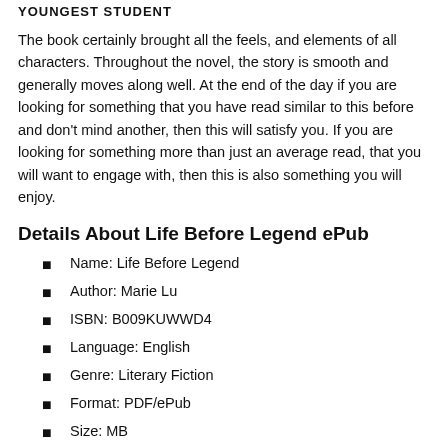YOUNGEST STUDENT
The book certainly brought all the feels, and elements of all characters. Throughout the novel, the story is smooth and generally moves along well. At the end of the day if you are looking for something that you have read similar to this before and don't mind another, then this will satisfy you. If you are looking for something more than just an average read, that you will want to engage with, then this is also something you will enjoy.
Details About Life Before Legend ePub
Name: Life Before Legend
Author:  Marie Lu
ISBN: B009KUWWD4
Language: English
Genre: Literary Fiction
Format: PDF/ePub
Size: MB